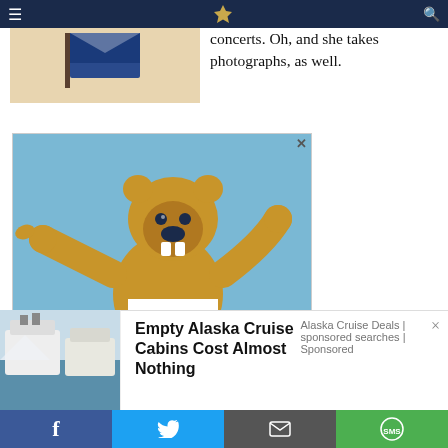Navigation bar with menu, logo, and search icons
[Figure (photo): Partial image of a person with a flag, top left corner]
concerts. Oh, and she takes photographs, as well.
[Figure (illustration): Penn State Nittany Lion mascot illustration pointing left with arms raised, against blue sky background, with advertisement close button]
[Figure (photo): Cruise ships photo for Alaska Cruise Deals advertisement]
Empty Alaska Cruise Cabins Cost Almost Nothing
Alaska Cruise Deals | sponsored searches | Sponsored
Social share buttons: Facebook, Twitter, Email, SMS